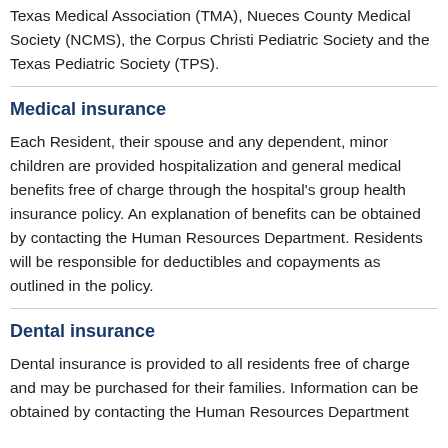Texas Medical Association (TMA), Nueces County Medical Society (NCMS), the Corpus Christi Pediatric Society and the Texas Pediatric Society (TPS).
Medical insurance
Each Resident, their spouse and any dependent, minor children are provided hospitalization and general medical benefits free of charge through the hospital's group health insurance policy. An explanation of benefits can be obtained by contacting the Human Resources Department. Residents will be responsible for deductibles and copayments as outlined in the policy.
Dental insurance
Dental insurance is provided to all residents free of charge and may be purchased for their families. Information can be obtained by contacting the Human Resources Department